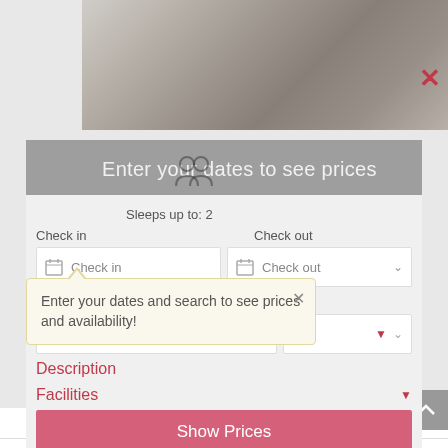[Figure (photo): Hotel room bed with white/grey pillows and bedding, partially visible]
Enter your dates to see prices
Sleeps up to: 2
Check in
Check out
Check in
Check out
King-Ensuite - Base Rate
Enter your dates and search to see prices and availability!
Description
Facilities
Show Prices
Enter dates to find rates and availability
Reviews
The Bell